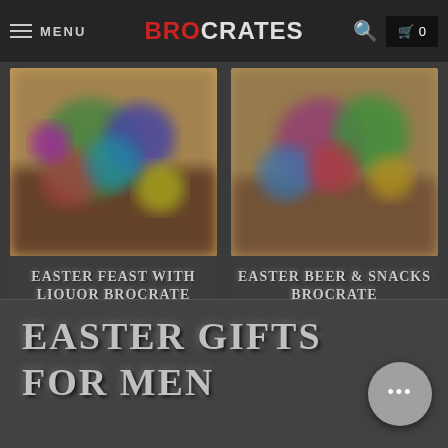MENU | BROCRATES | 🔍 | 🛒 0
[Figure (photo): Blurred photo of colorful Easter items in a crate or basket, left product card]
EASTER FEAST WITH LIQUOR BROCRATE
$176.99
[Figure (photo): Blurred photo of colorful Easter items in a crate or basket, right product card]
EASTER BEER & SNACKS BROCRATE
$107.99
EASTER GIFTS FOR MEN